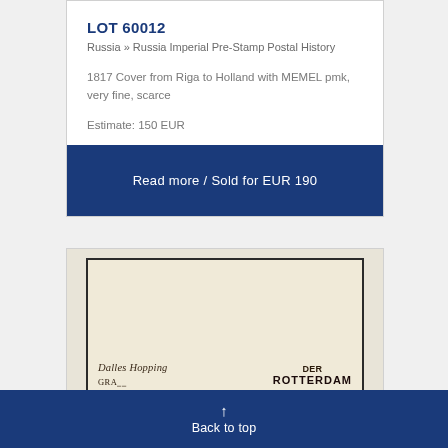LOT 60012
Russia » Russia Imperial Pre-Stamp Postal History
1817 Cover from Riga to Holland with MEMEL pmk, very fine, scarce
Estimate: 150 EUR
Read more / Sold for EUR 190
[Figure (photo): Antique postal cover with handwritten text and stamped markings including ROTTERDAM]
Back to top